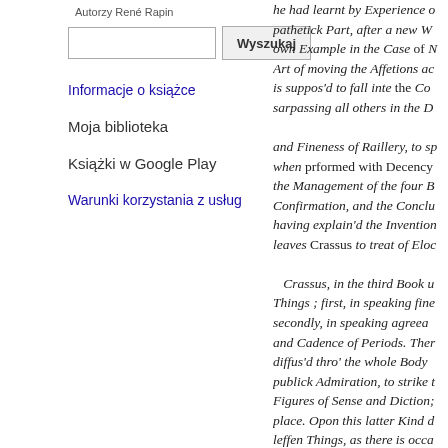Autorzy René Rapin
Wyszukaj [search box and button]
Informacje o książce
Moja biblioteka
Książki w Google Play
Warunki korzystania z usług
he had learnt by Experience o pathetick Part, after a new W own Example in the Case of N Art of moving the Affetions ac is suppos'd to fall inte the Co sarpassing all others in the D and Fineness of Raillery, to sp when prformed with Decency the Management of the four B Confirmation, and the Conclu having explain'd the Invention leaves Crassus to treat of Eloc Crassus, in the third Book u Things ; first, in speaking fine secondly, in speaking agreea and Cadence of Periods. Ther diffus'd thro' the whole Body publick Admiration, to strike t Figures of Sense and Diction; place. Opon this latter Kind d leffen Things, as there is occa Oratory, when skilfully perfo Expression, the Turn of Peri